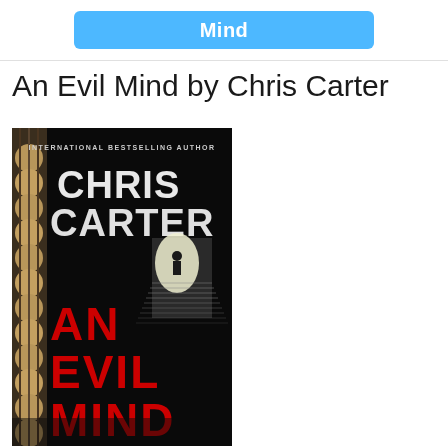[Figure (screenshot): Blue button/bar with white text 'Mind' centered on it, partial UI element at top of page]
An Evil Mind by Chris Carter
[Figure (photo): Book cover of 'An Evil Mind' by Chris Carter. Dark background with large white text 'CHRIS CARTER' at top, 'INTERNATIONAL BESTSELLING AUTHOR' in small text, and red text 'AN EVIL MIND' at bottom. A silhouette of a figure descending stairs in background. Rope/chain texture on left side.]